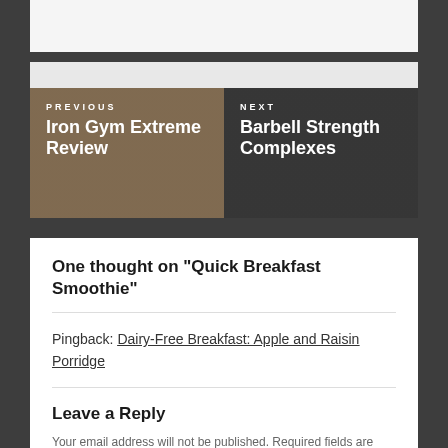[Figure (screenshot): Gray top block placeholder area]
[Figure (photo): Navigation post links with background photos: Previous - Iron Gym Extreme Review, Next - Barbell Strength Complexes]
One thought on “Quick Breakfast Smoothie”
Pingback: Dairy-Free Breakfast: Apple and Raisin Porridge
Leave a Reply
Your email address will not be published. Required fields are marked *